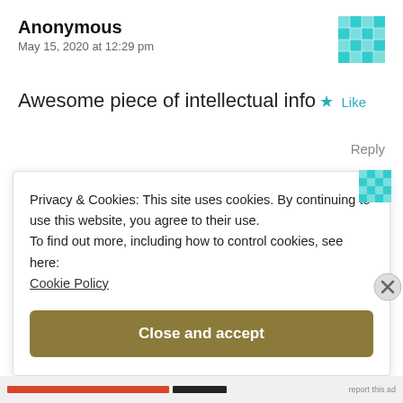Anonymous
May 15, 2020 at 12:29 pm
Awesome piece of intellectual info
★ Like
Reply
Privacy & Cookies: This site uses cookies. By continuing to use this website, you agree to their use.
To find out more, including how to control cookies, see here:
Cookie Policy
Close and accept